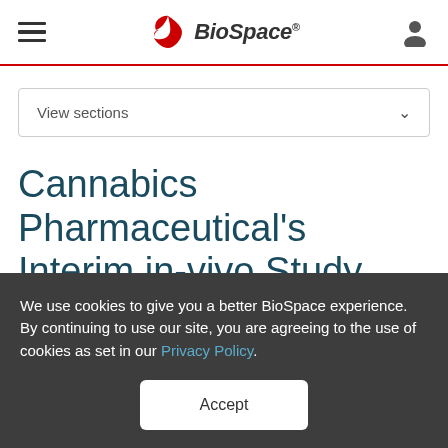[Figure (logo): BioSpace logo with red triangular icon and italic bold text]
View sections
Cannabics Pharmaceutical's Interim in-vivo Study Results
We use cookies to give you a better BioSpace experience. By continuing to use our site, you are agreeing to the use of cookies as set in our Privacy Policy.
Accept